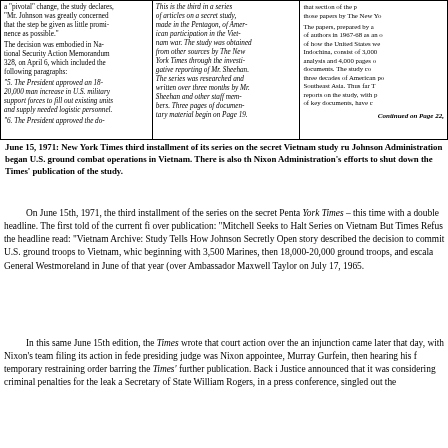[Figure (other): Newspaper clipping showing three columns of text from the New York Times article about the Vietnam War secret study (Pentagon Papers), dated around June 15, 1971]
June 15, 1971: New York Times third installment of its series on the secret Vietnam study ru Johnson Administration began U.S. ground combat operations in Vietnam. There is also th Nixon Administration's efforts to shut down the Times' publication of the study.
On June 15th, 1971, the third installment of the series on the secret Penta York Times – this time with a double headline. The first told of the current fi over publication: "Mitchell Seeks to Halt Series on Vietnam But Times Refus the headline read: "Vietnam Archive: Study Tells How Johnson Secretly Open story described the decision to commit U.S. ground troops to Vietnam, which beginning with 3,500 Marines, then 18,000-20,000 ground troops, and escala General Westmoreland in June of that year (over Ambassador Maxwell Taylor on July 17, 1965.
In this same June 15th edition, the Times wrote that court action over the an injunction came later that day, with Nixon's team filing its action in fede presiding judge was Nixon appointee, Murray Gurfein, then hearing his f temporary restraining order barring the Times' further publication. Back i Justice announced that it was considering criminal penalties for the leak a Secretary of State William Rogers, in a press conference, singled out the